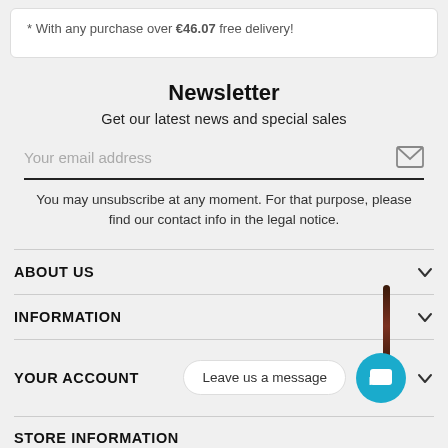* With any purchase over €46.07 free delivery!
Newsletter
Get our latest news and special sales
Your email address
You may unsubscribe at any moment. For that purpose, please find our contact info in the legal notice.
ABOUT US
INFORMATION
YOUR ACCOUNT
STORE INFORMATION
Leave us a message